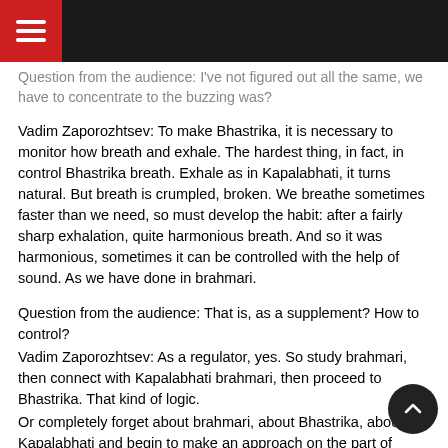Question from the audience: I've not figured out all the same, we have to concentrate to the buzzing was?
Vadim Zaporozhtsev: To make Bhastrika, it is necessary to monitor how breath and exhale. The hardest thing, in fact, in control Bhastrika breath. Exhale as in Kapalabhati, it turns natural. But breath is crumpled, broken. We breathe sometimes faster than we need, so must develop the habit: after a fairly sharp exhalation, quite harmonious breath. And so it was harmonious, sometimes it can be controlled with the help of sound. As we have done in brahmari.
Question from the audience: That is, as a supplement? How to control?
Vadim Zaporozhtsev: As a regulator, yes. So study brahmari, then connect with Kapalabhati brahmari, then proceed to Bhastrika. That kind of logic.
Or completely forget about brahmari, about Bhastrika, about Kapalabhati and begin to make an approach on the part of pranic kriyas, that is, immediately begin to do through the buildup. In my experience, I have been teaching a long time that